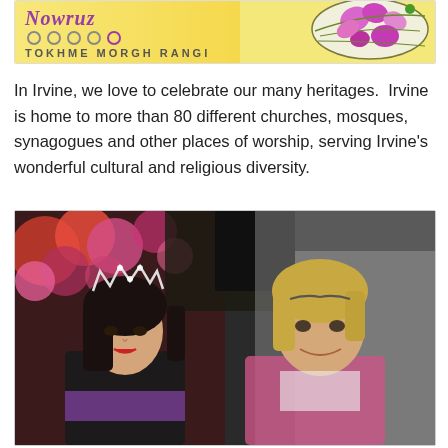[Figure (illustration): Banner/logo image with decorative cursive text 'Nowruz' in purple/pink, decorative dots below it, subtitle 'TOKhMe MOrGh RanGI' in bold all-caps, and a decorative floral illustration with pink/purple flowers on the right side, set against a golden-yellow background.]
In Irvine, we love to celebrate our many heritages.  Irvine is home to more than 80 different churches, mosques, synagogues and other places of worship, serving Irvine's wonderful cultural and religious diversity.
[Figure (photo): A photo of two women smiling. On the left is a young woman with long dark hair and a tiara/crown, wearing dark clothing. On the right is an older blonde woman. The background shows pink/red flowering bushes and trees.]